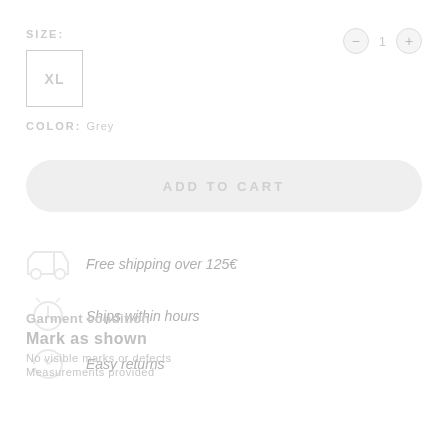SIZE:
XL
COLOR: Grey
ADD TO CART
Free shipping over 125€
Ships within hours
Easy returns
Garment condition
Mark as shown
No visible marks or defects